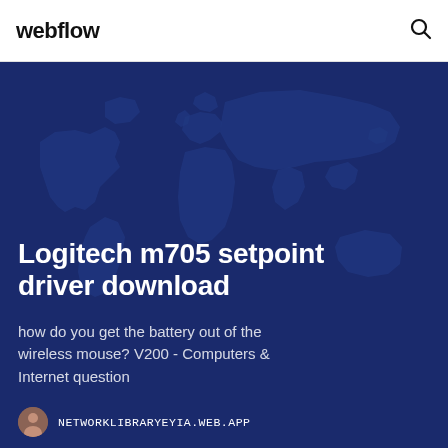webflow
[Figure (illustration): World map illustration on dark blue background used as hero section backdrop]
Logitech m705 setpoint driver download
how do you get the battery out of the wireless mouse? V200 - Computers & Internet question
NETWORKLIBRARYEYIA.WEB.APP